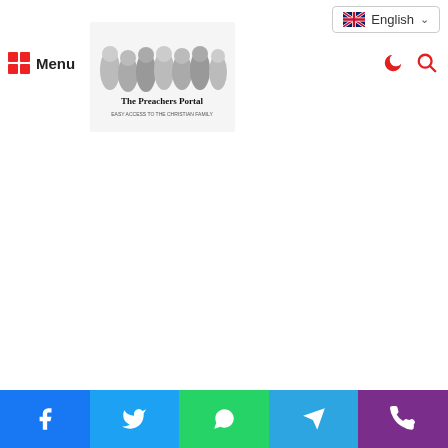The Preachers Portal | Menu | English | dark-mode | search
[Figure (logo): The Preachers Portal logo with group photo of preachers]
Say Something About This
[Figure (infographic): Social sharing bar with Facebook, Twitter, WhatsApp, Telegram, Phone icons]